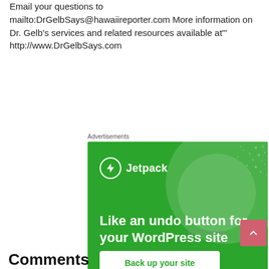Email your questions to mailto:DrGelbSays@hawaiireporter.com More information on Dr. Gelb's services and related resources available at"' http://www.DrGelbSays.com
[Figure (other): Jetpack advertisement with green background showing a large decorative circle, Jetpack logo and name, text 'Like an undo button for your WordPress site', and a 'Back up your site' button.]
Comments